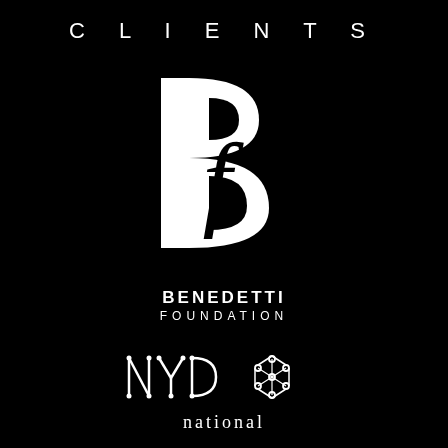CLIENTS
[Figure (logo): Benedetti Foundation logo - white stylized B with an italic f inside on black background, with text BENEDETTI FOUNDATION below]
[Figure (logo): NYPO National logo - stylized text NYPO with geometric connected dots forming letters and a hexagonal node cluster, white on black]